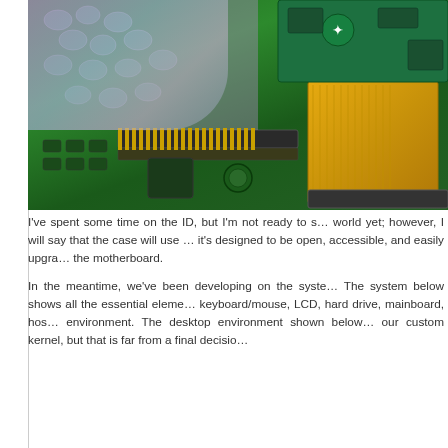[Figure (photo): Close-up photograph of a green PCB (Raspberry Pi compute module or similar single-board computer) with bubble wrap packaging in the upper left, a gold flexible ribbon cable connector on the right side, and various electronic components visible on the board.]
I've spent some time on the ID, but I'm not ready to show it to the world yet; however, I will say that the case will use ... it's designed to be open, accessible, and easily upgra... the motherboard.
In the meantime, we've been developing on the syste... The system below shows all the essential eleme... keyboard/mouse, LCD, hard drive, mainboard, hos... environment. The desktop environment shown below... our custom kernel, but that is far from a final decisio...